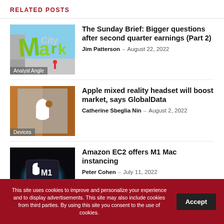RELATED POSTS
[Figure (photo): Outdoor market sign with large green letters spelling 'Market City', person in red shirt visible. Tag: Analyst Angle]
The Sunday Brief: Bigger questions after second quarter earnings (Part 2)
Jim Patterson – August 22, 2022
[Figure (photo): Apple store exterior with Apple logo on glass. Tag: Devices]
Apple mixed reality headset will boost market, says GlobalData
Catherine Sbeglia Nin – August 2, 2022
[Figure (photo): Apple M1 chip on colorful gradient background, dark scene with Apple M1 branding]
Amazon EC2 offers M1 Mac instancing
Peter Cohen – July 11, 2022
This site uses cookies to improve and personalize your experience and to display advertisements. This site may also include cookies from third parties. By using this site you consent to the use of cookies.